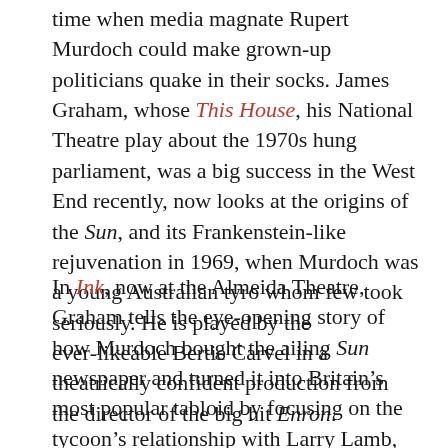time when media magnate Rupert Murdoch could make grown-up politicians quake in their socks. James Graham, whose This House, his National Theatre play about the 1970s hung parliament, was a big success in the West End recently, now looks at the origins of the Sun, and its Frankenstein-like rejuvenation in 1969, when Murdoch was a young Australian tyro whom few took seriously. He is played by the ever-likeable Bertie Carvel in a theatrically confident production from the director of the big hit Enron.
In Ink, now at the Almeida Theatre, Graham tells the eye-opening story of how Murdoch bought the ailing Sun newspaper and turned it into Britain's most popular tabloid by focusing on the tycoon's relationship with Larry Lamb, the paper's new editor, and the rivalry between Lamb and his